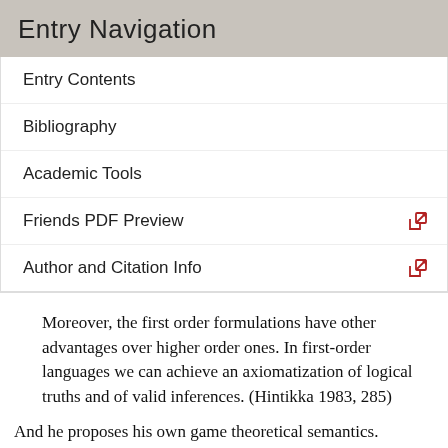Entry Navigation
Entry Contents
Bibliography
Academic Tools
Friends PDF Preview
Author and Citation Info
Moreover, the first order formulations have other advantages over higher order ones. In first-order languages we can achieve an axiomatization of logical truths and of valid inferences. (Hintikka 1983, 285)
And he proposes his own game theoretical semantics.
Some comments (the first two originate from Groenendijk & Stokhof, personal communication).
1. If first-order analysis is so natural and